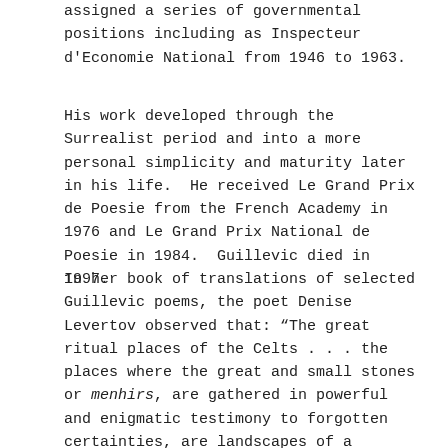assigned a series of governmental positions including as Inspecteur d'Economie National from 1946 to 1963.
His work developed through the Surrealist period and into a more personal simplicity and maturity later in his life.  He received Le Grand Prix de Poesie from the French Academy in 1976 and Le Grand Prix National de Poesie in 1984.  Guillevic died in 1997.
In her book of translations of selected Guillevic poems, the poet Denise Levertov observed that: "The great ritual places of the Celts . . . the places where the great and small stones or menhirs, are gathered in powerful and enigmatic testimony to forgotten certainties, are landscapes of a profound austerity."[i]